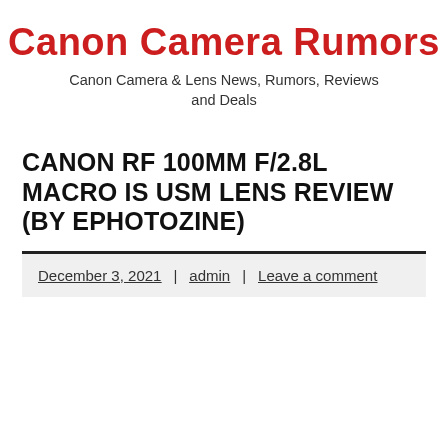Canon Camera Rumors
Canon Camera & Lens News, Rumors, Reviews and Deals
CANON RF 100MM F/2.8L MACRO IS USM LENS REVIEW (BY EPHOTOZINE)
December 3, 2021 | admin | Leave a comment